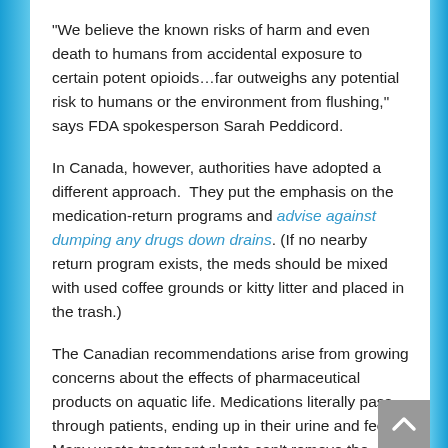“We believe the known risks of harm and even death to humans from accidental exposure to certain potent opioids…far outweighs any potential risk to humans or the environment from flushing,” says FDA spokesperson Sarah Peddicord.
In Canada, however, authorities have adopted a different approach.  They put the emphasis on the medication-return programs and advise against dumping any drugs down drains. (If no nearby return program exists, the meds should be mixed with used coffee grounds or kitty litter and placed in the trash.)
The Canadian recommendations arise from growing concerns about the effects of pharmaceutical products on aquatic life. Medications literally pass through patients, ending up in their urine and feces. Many waste treatment plants can’t remove the drugs before the water is released back into the environment, Health Canada spokesperson Anna Maddison said in an email. Deliberately dumping